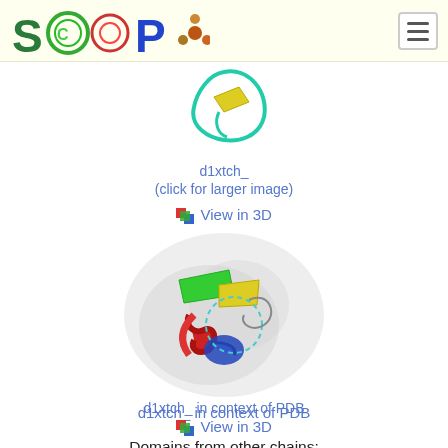[Figure (illustration): SCOP logo with colorful letters and protein structure motifs on cream/ivory header background]
[Figure (illustration): Small protein structure ribbon diagram d1xtch_ shown against white background with yellow and green colored ribbons]
d1xtch_
(click for larger image)
View in 3D
[Figure (illustration): Protein d1xtch_ in context of PDB showing colorful ribbon (green, yellow, red, blue) against grey transparent molecular surface]
d1xtch_ in context of PDB
View in 3D
Domains from other chains:
(mouse over for more information)
d1xtc.1, d1xtc.1, d1xtcd_, d1xtce_, d1xtcf_, d1xtcg_
SCOP: Structural Classification of Proteins and ASTRAL. Release 1.57 (January 2002)
Copyright © 1994-2009 The SCOP and ASTRAL authors
scop@mrc-lmb.cam.ac.uk and astral@compbio.berkeley.edu